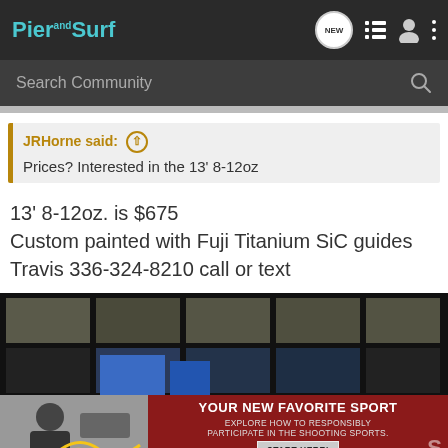PierandSurf — navigation header with search bar
JRHorne said: ↑
Prices? Interested in the 13' 8-12oz
13' 8-12oz. is $675
Custom painted with Fuji Titanium SiC guides
Travis 336-324-8210 call or text
[Figure (photo): Photo of fishing rods displayed in a rack, partially visible. Overlaid advertisement at the bottom: 'YOUR NEW FAVORITE SPORT — EXPLORE HOW TO RESPONSIBLY PARTICIPATE IN THE SHOOTING SPORTS. START HERE!']